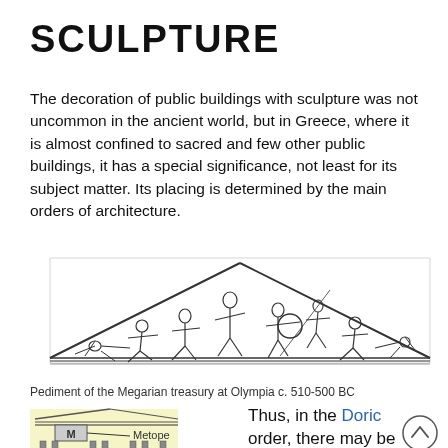SCULPTURE
The decoration of public buildings with sculpture was not uncommon in the ancient world, but in Greece, where it is almost confined to sacred and few other public buildings, it has a special significance, not least for its subject matter. Its placing is determined by the main orders of architecture.
[Figure (illustration): Line drawing of the Pediment of the Megarian treasury at Olympia c. 510-500 BC, showing a triangular pediment filled with figures in battle poses]
Pediment of the Megarian treasury at Olympia c. 510-500 BC
[Figure (illustration): Diagram of a Doric temple facade showing a metope labeled with M and arrow pointing to Metope label, on a yellow background]
Thus, in the Doric order, there may be groups in the pediments at each end of a temple, panel